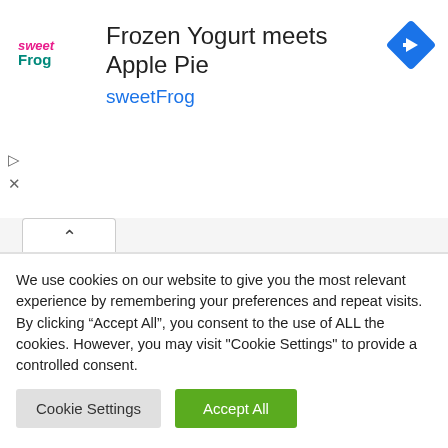[Figure (screenshot): sweetFrog advertisement banner with logo, title 'Frozen Yogurt meets Apple Pie', subtitle 'sweetFrog', and a blue navigation icon]
1 Happy New Year 2023 Fireworks Live Streaming
2 5 Best Places to be for Happy New Year 2023 Fireworks
We use cookies on our website to give you the most relevant experience by remembering your preferences and repeat visits. By clicking “Accept All”, you consent to the use of ALL the cookies. However, you may visit "Cookie Settings" to provide a controlled consent.
Cookie Settings | Accept All